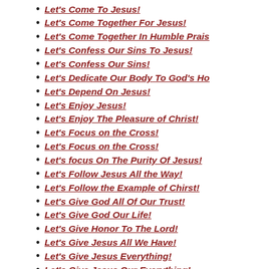Let's Come To Jesus!
Let's Come Together For Jesus!
Let's Come Together In Humble Prais
Let's Confess Our Sins To Jesus!
Let's Confess Our Sins!
Let's Dedicate Our Body To God's Ho
Let's Depend On Jesus!
Let's Enjoy Jesus!
Let's Enjoy The Pleasure of Christ!
Let's Focus on the Cross!
Let's Focus on the Cross!
Let's focus On The Purity Of Jesus!
Let's Follow Jesus All the Way!
Let's Follow the Example of Chirst!
Let's Give God All Of Our Trust!
Let's Give God Our Life!
Let's Give Honor To The Lord!
Let's Give Jesus All We Have!
Let's Give Jesus Everything!
Let's Give Jesus Our Everything!
Let's Give Thanks YTo The Lord!
Let's Hold Each Other Accountable F
Let's Keep Marriage Strong!
Let's Listen To And Obey God!
Let's Listen to What God Is Saying!
Let's Live for Christ!
Let's Live For Jesus!
Let's Live For Jesus! Not This Wor
Let's Live Our Life for Jesus!
Let's Love As Jesus Does!